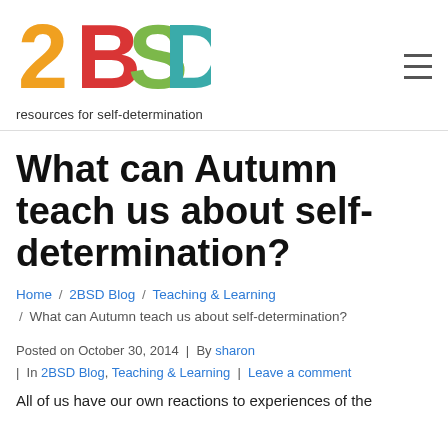2BSD resources for self-determination
What can Autumn teach us about self-determination?
Home / 2BSD Blog / Teaching & Learning / What can Autumn teach us about self-determination?
Posted on October 30, 2014  |  By sharon  |  In 2BSD Blog, Teaching & Learning  |  Leave a comment
All of us have our own reactions to experiences of the